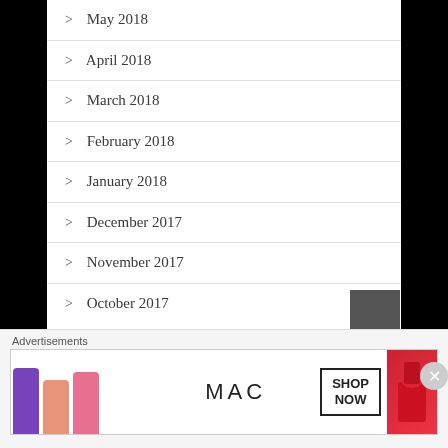May 2018
April 2018
March 2018
February 2018
January 2018
December 2017
November 2017
October 2017
Advertisements
[Figure (photo): MAC cosmetics advertisement banner showing colorful lipsticks and MAC logo with SHOP NOW button]